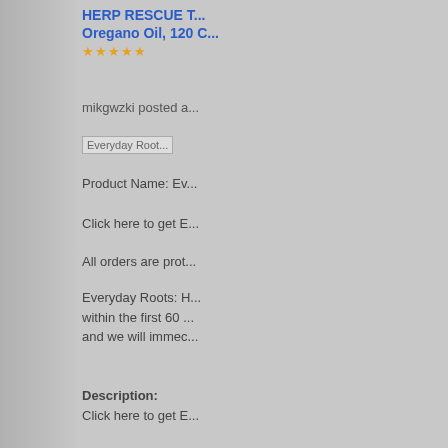HERP RESCUE T... Oregano Oil, 120 C...
mikgwzki posted a...
[Figure (photo): Everyday Roots image placeholder]
Product Name: Ev...
Click here to get E...
All orders are prot...
Everyday Roots: H... within the first 60 ... and we will immec...
Description:
Click here to get E...
All orders are prot...
Everyday Roots: H... within the first 60 ... and we will immec...
www.stayingfitter....